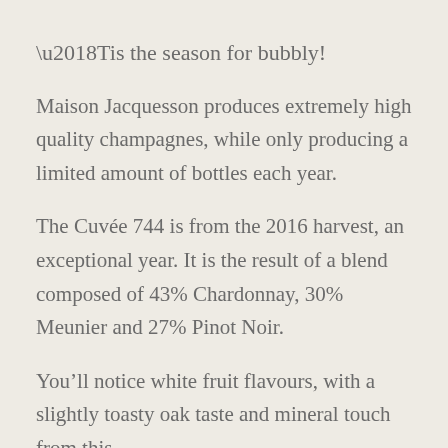‘Tis the season for bubbly!
Maison Jacquesson produces extremely high quality champagnes, while only producing a limited amount of bottles each year.
The Cuvée 744 is from the 2016 harvest, an exceptional year. It is the result of a blend composed of 43% Chardonnay, 30% Meunier and 27% Pinot Noir.
You’ll notice white fruit flavours, with a slightly toasty oak taste and mineral touch from this